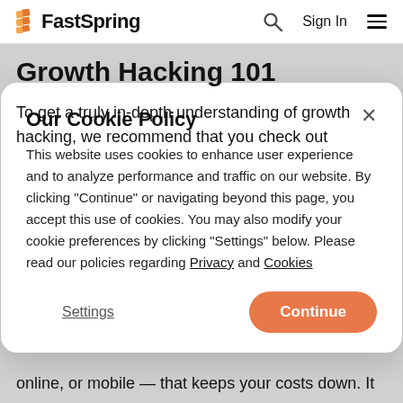FastSpring  Sign In
Growth Hacking 101
To get a truly in-depth understanding of growth hacking, we recommend that you check out
Our Cookie Policy
This website uses cookies to enhance user experience and to analyze performance and traffic on our website. By clicking "Continue" or navigating beyond this page, you accept this use of cookies. You may also modify your cookie preferences by clicking "Settings" below. Please read our policies regarding Privacy and Cookies
Settings  Continue
online, or mobile — that keeps your costs down. It